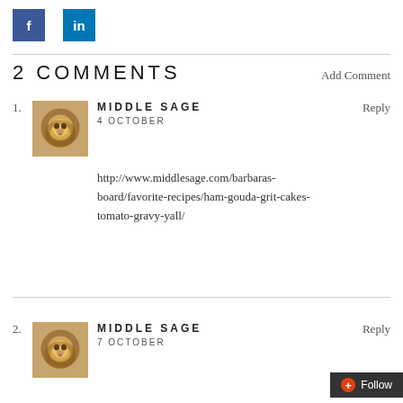[Figure (other): Facebook social share button (blue square with white 'f')]
[Figure (other): LinkedIn social share button (blue square with white 'in')]
2 COMMENTS
Add Comment
1. MIDDLE SAGE
4 OCTOBER
http://www.middlesage.com/barbaras-board/favorite-recipes/ham-gouda-grit-cakes-tomato-gravy-yall/
Reply
2. MIDDLE SAGE
7 OCTOBER
Reply